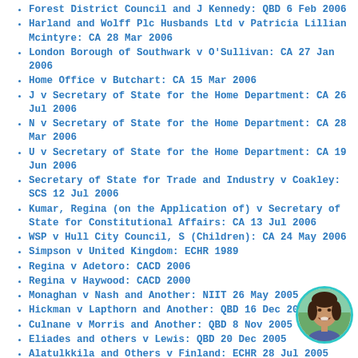Forest District Council and J Kennedy: QBD 6 Feb 2006
Harland and Wolff Plc Husbands Ltd v Patricia Lillian Mcintyre: CA 28 Mar 2006
London Borough of Southwark v O'Sullivan: CA 27 Jan 2006
Home Office v Butchart: CA 15 Mar 2006
J v Secretary of State for the Home Department: CA 26 Jul 2006
N v Secretary of State for the Home Department: CA 28 Mar 2006
U v Secretary of State for the Home Department: CA 19 Jun 2006
Secretary of State for Trade and Industry v Coakley: SCS 12 Jul 2006
Kumar, Regina (on the Application of) v Secretary of State for Constitutional Affairs: CA 13 Jul 2006
WSP v Hull City Council, S (Children): CA 24 May 2006
Simpson v United Kingdom: ECHR 1989
Regina v Adetoro: CACD 2006
Regina v Haywood: CACD 2000
Monaghan v Nash and Another: NIIT 26 May 2005
Hickman v Lapthorn and Another: QBD 16 Dec 2005
Culnane v Morris and Another: QBD 8 Nov 2005
Eliades and others v Lewis: QBD 20 Dec 2005
Alatulkkila and Others v Finland: ECHR 28 Jul 2005
[Figure (photo): Circular portrait photo of a smiling woman with dark hair, bordered with teal/cyan circle, positioned in bottom-right corner]